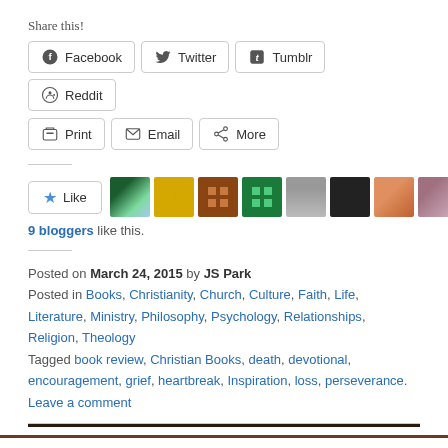Share this!
Facebook, Twitter, Tumblr, Reddit (share buttons)
Print, Email, More (share buttons)
[Figure (other): Like button with star icon, followed by 9 blogger avatar thumbnails]
9 bloggers like this.
Posted on March 24, 2015 by JS Park
Posted in Books, Christianity, Church, Culture, Faith, Life, Literature, Ministry, Philosophy, Psychology, Relationships, Religion, Theology
Tagged book review, Christian Books, death, devotional, encouragement, grief, heartbreak, Inspiration, loss, perseverance.
Leave a comment
ORDER NOW: THE VOICES WE CARRY